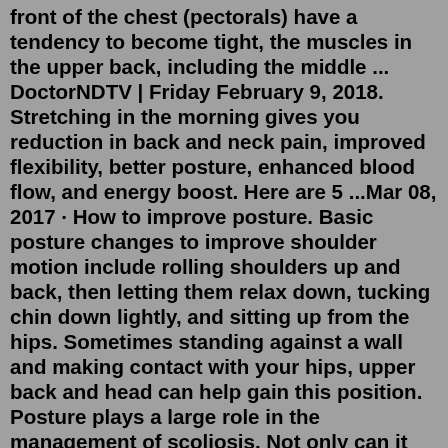front of the chest (pectorals) have a tendency to become tight, the muscles in the upper back, including the middle ... DoctorNDTV | Friday February 9, 2018. Stretching in the morning gives you reduction in back and neck pain, improved flexibility, better posture, enhanced blood flow, and energy boost. Here are 5 ...Mar 08, 2017 · How to improve posture. Basic posture changes to improve shoulder motion include rolling shoulders up and back, then letting them relax down, tucking chin down lightly, and sitting up from the hips. Sometimes standing against a wall and making contact with your hips, upper back and head can help gain this position. Posture plays a large role in the management of scoliosis. Not only can it potentially minimize pain, but having good posture may also help mitigate other back problems caused by poor posture. Maintaining healthy posture with scoliosis. In order to maintain good posture with scoliosis and reduce pressure on the spine and surrounding tissues. 5. Thoracic Spine Foam Rolling. This is great way to loosen up the